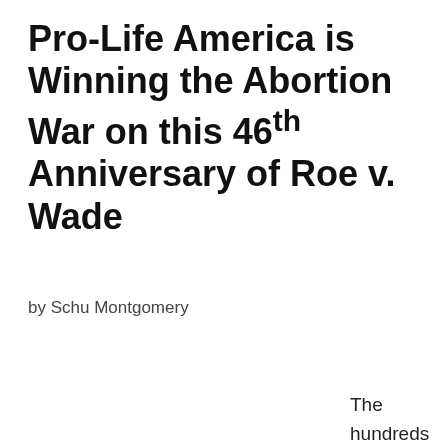Pro-Life America is Winning the Abortion War on this 46th Anniversary of Roe v. Wade
by Schu Montgomery
The hundreds of thousands of dedicated pro-life citizens braving blizzards and sub-zero temperatures at the annual March for Life in Washington, D.C.